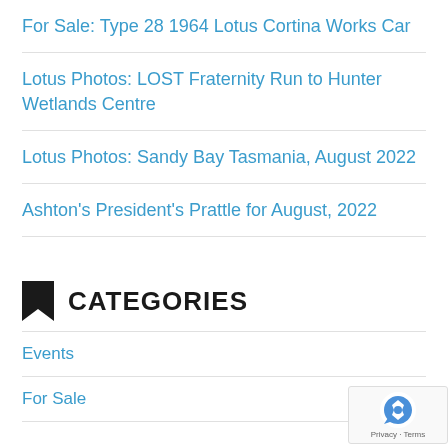For Sale: Type 28 1964 Lotus Cortina Works Car
Lotus Photos: LOST Fraternity Run to Hunter Wetlands Centre
Lotus Photos: Sandy Bay Tasmania, August 2022
Ashton's President's Prattle for August, 2022
CATEGORIES
Events
For Sale